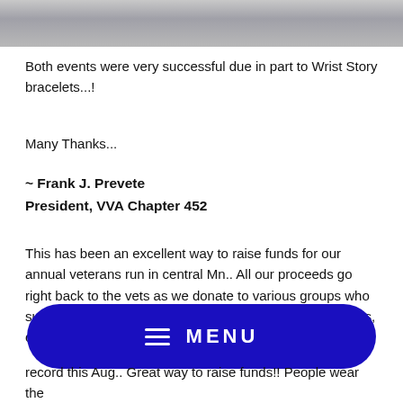[Figure (photo): Partial photo at top of page, showing a grey metallic surface or object, cropped at the bottom.]
Both events were very successful due in part to Wrist Story bracelets...!
Many Thanks...
~ Frank J. Prevete
President, VVA Chapter 452
This has been an excellent way to raise funds for our annual veterans run in central Mn.. All our proceeds go right back to the vets as we donate to various groups who support our veterans. The bracelets, as crazy as it sounds, contribute a...
record this Aug.. Great way to raise funds!! People wear the